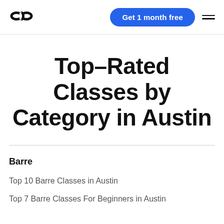ClassPass — Get 1 month free
Top-Rated Classes by Category in Austin
Barre
Top 10 Barre Classes in Austin
Top 7 Barre Classes For Beginners in Austin